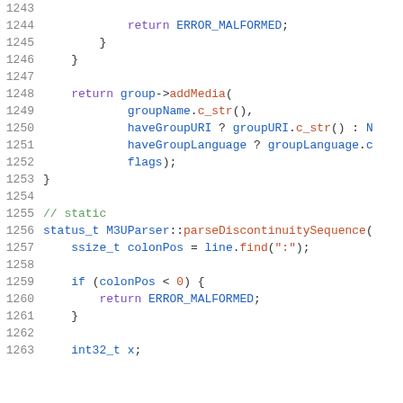[Figure (screenshot): Source code listing in C++ showing lines 1243-1263, featuring return statements, function calls (group->addMedia, line.find), variable declarations, and a comment '// static'. Syntax highlighted with purple keywords, blue types/variables, red strings, and green comments.]